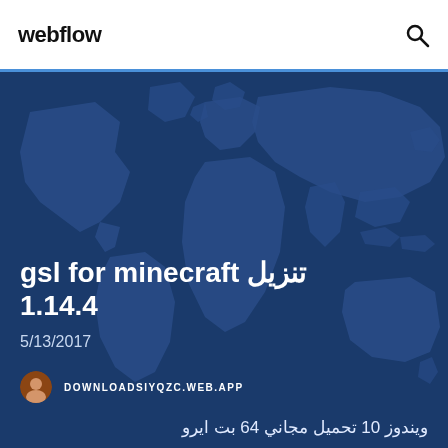webflow
[Figure (illustration): Dark blue world map background with continent outlines visible as slightly lighter blue shapes on a deep navy background]
تنزيل gsl for minecraft 1.14.4
5/13/2017
DOWNLOADSIYQZC.WEB.APP
ويندوز 10 تحميل مجاني 64 بت ايرو